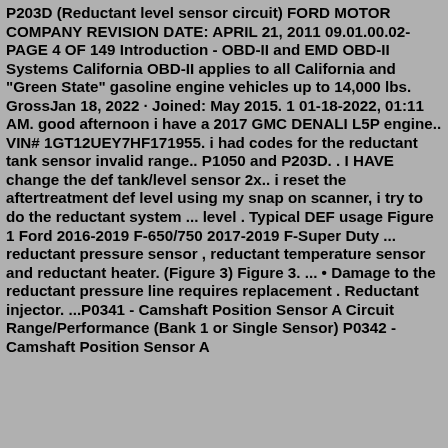P203D (Reductant level sensor circuit) FORD MOTOR COMPANY REVISION DATE: APRIL 21, 2011 09.01.00.02-PAGE 4 OF 149 Introduction - OBD-II and EMD OBD-II Systems California OBD-II applies to all California and "Green State" gasoline engine vehicles up to 14,000 lbs. GrossJan 18, 2022 · Joined: May 2015. 1 01-18-2022, 01:11 AM. good afternoon i have a 2017 GMC DENALI L5P engine.. VIN# 1GT12UEY7HF171955. i had codes for the reductant tank sensor invalid range.. P1050 and P203D. . I HAVE change the def tank/level sensor 2x.. i reset the aftertreatment def level using my snap on scanner, i try to do the reductant system ... level . Typical DEF usage Figure 1 Ford 2016-2019 F-650/750 2017-2019 F-Super Duty ... reductant pressure sensor , reductant temperature sensor and reductant heater. (Figure 3) Figure 3. ... • Damage to the reductant pressure line requires replacement . Reductant injector. ...P0341 - Camshaft Position Sensor A Circuit Range/Performance (Bank 1 or Single Sensor) P0342 - Camshaft Position Sensor A